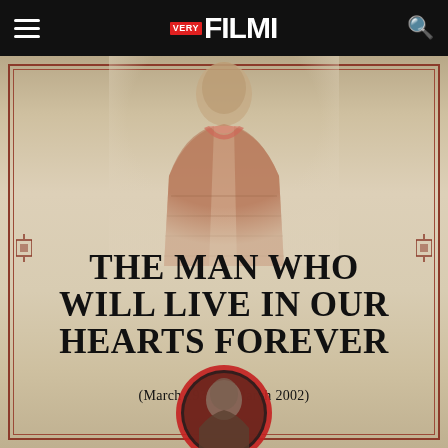VERY FILMI
[Figure (illustration): A commemorative poster with a parchment/vintage beige background with red decorative border. At the top is a faded illustration of a man in a plaid jacket. In the center is bold text reading 'THE MAN WHO WILL LIVE IN OUR HEARTS FOREVER' with subtitle '(March 1934 to March 2002)'. At the bottom is a circular portrait medallion of another man.]
THE MAN WHO WILL LIVE IN OUR HEARTS FOREVER
(March 1934 to March 2002)